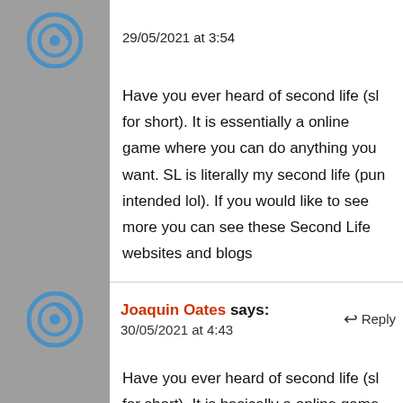29/05/2021 at 3:54
Have you ever heard of second life (sl for short). It is essentially a online game where you can do anything you want. SL is literally my second life (pun intended lol). If you would like to see more you can see these Second Life websites and blogs
Joaquin Oates says: 30/05/2021 at 4:43 ↩ Reply
Have you ever heard of second life (sl for short). It is basically a online game where you can do anything you want. sl is literally my second life (pun intended lol). If you would like to see more you can see these Second Life articles and blogs